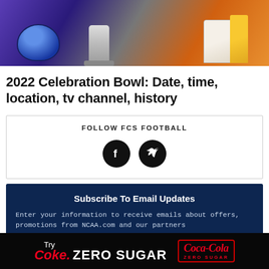[Figure (photo): Photo of football helmet, trophy, and awards display with purple/blue and orange colors]
2022 Celebration Bowl: Date, time, location, tv channel, history
FOLLOW FCS FOOTBALL
[Figure (other): Social media icons: Facebook and Twitter circles]
Subscribe To Email Updates
Enter your information to receive emails about offers, promotions from NCAA.com and our partners
[Figure (other): Coca-Cola advertisement banner: Try Coke Zero Sugar with Coca-Cola Zero Sugar logo]